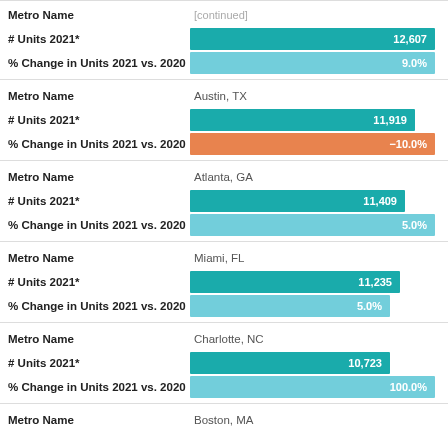Metro Name: [top, clipped]
# Units 2021*: 12,607
% Change in Units 2021 vs. 2020: 9.0%
Metro Name: Austin, TX
# Units 2021*: 11,919
% Change in Units 2021 vs. 2020: -10.0%
Metro Name: Atlanta, GA
# Units 2021*: 11,409
% Change in Units 2021 vs. 2020: 5.0%
Metro Name: Miami, FL
# Units 2021*: 11,235
% Change in Units 2021 vs. 2020: 5.0%
Metro Name: Charlotte, NC
# Units 2021*: 10,723
% Change in Units 2021 vs. 2020: 100.0%
Metro Name: Boston, MA